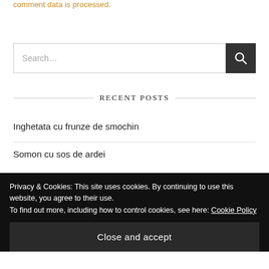comment data is processed.
[Figure (other): Search input field with dark search button icon]
RECENT POSTS
Inghetata cu frunze de smochin
Somon cu sos de ardei
Privacy & Cookies: This site uses cookies. By continuing to use this website, you agree to their use.
To find out more, including how to control cookies, see here: Cookie Policy
Close and accept